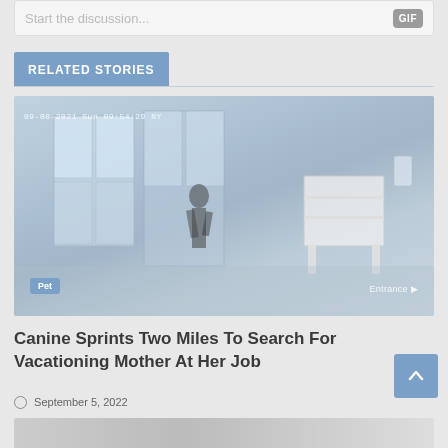Start the discussion...
RELATED STORIES
[Figure (photo): Security camera footage showing a room interior with large windows/doors. A figure is visible near the entrance. Timestamp reads 09-08-2021 Sun 09:54:29 NY. Tags: Pet (bottom left), Entrance (bottom right).]
Canine Sprints Two Miles To Search For Vacationing Mother At Her Job
September 5, 2022